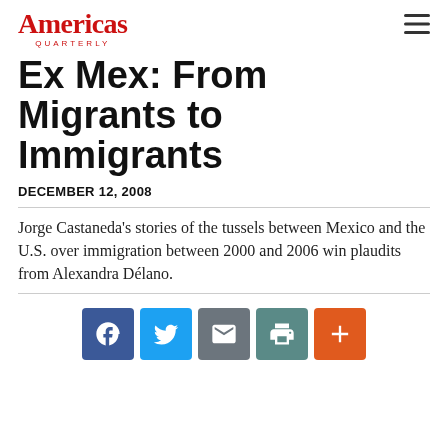Americas Quarterly
Ex Mex: From Migrants to Immigrants
DECEMBER 12, 2008
Jorge Castaneda's stories of the tussels between Mexico and the U.S. over immigration between 2000 and 2006 win plaudits from Alexandra Délano.